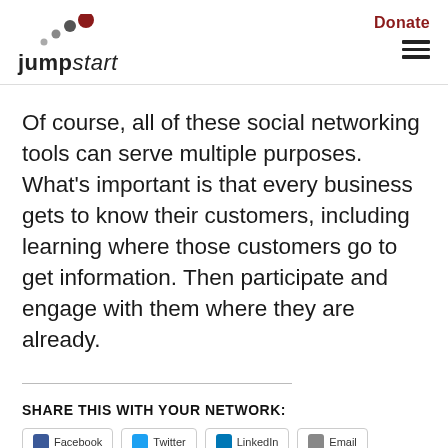jumpstart | Donate
Of course, all of these social networking tools can serve multiple purposes. What’s important is that every business gets to know their customers, including learning where those customers go to get information. Then participate and engage with them where they are already.
SHARE THIS WITH YOUR NETWORK: